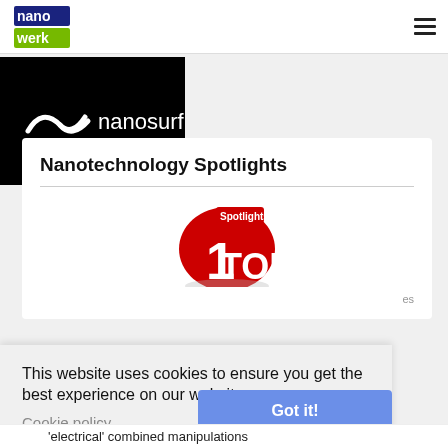nanowerk
[Figure (logo): Nanosurf logo on black background banner ad]
Nanotechnology Spotlights
[Figure (illustration): Red circular badge with '1 TOP Spotlights' text]
This website uses cookies to ensure you get the best experience on our website.
Cookie policy
Got it!
'electrical' combined manipulations